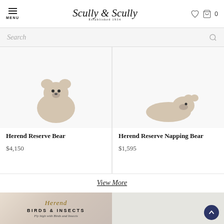MENU — Scully & Scully — Established 1934 — [heart icon] [cart icon] 0
Search
Herend Reserve Bear
$4,150
Herend Reserve Napping Bear
$1,595
View More
[Figure (photo): Herend Birds & Insects category banner with script Herend logo and text BIRDS & INSECTS - Fly high with Birds and Insects]
[Figure (photo): Blue Herend owl figurine holding an orange object, with dark navy circular scroll-to-top button overlay]